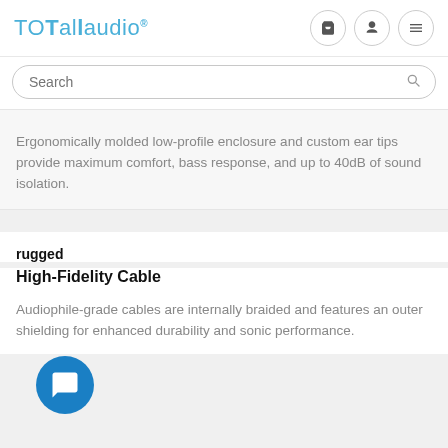TOTallaudio.
Ergonomically molded low-profile enclosure and custom ear tips provide maximum comfort, bass response, and up to 40dB of sound isolation.
rugged
High-Fidelity Cable
Audiophile-grade cables are internally braided and features an outer shielding for enhanced durability and sonic performance.
[Figure (illustration): Blue circular chat/message bubble icon button in bottom left corner]